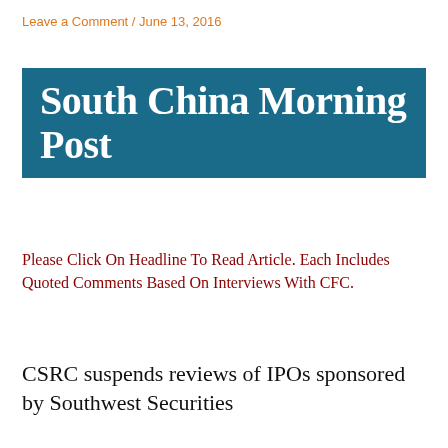Leave a Comment / June 13, 2016
[Figure (logo): South China Morning Post logo — white bold serif text on teal/dark-blue rectangular background]
Please Click On Headline To Read Article. Each Includes Quoted Comments Based On Interviews With CFC.
CSRC suspends reviews of IPOs sponsored by Southwest Securities